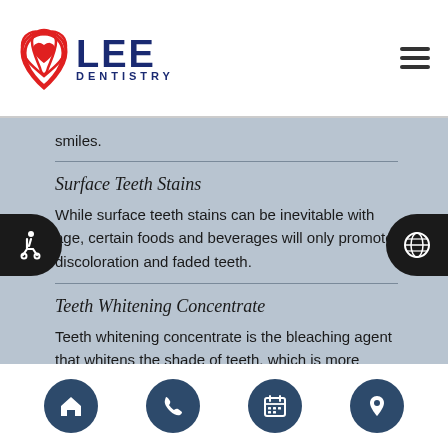LEE DENTISTRY
smiles.
Surface Teeth Stains
While surface teeth stains can be inevitable with age, certain foods and beverages will only promote discoloration and faded teeth.
Teeth Whitening Concentrate
Teeth whitening concentrate is the bleaching agent that whitens the shade of teeth, which is more effective from a professional and not a general store
Navigation icons: home, phone, calendar, location